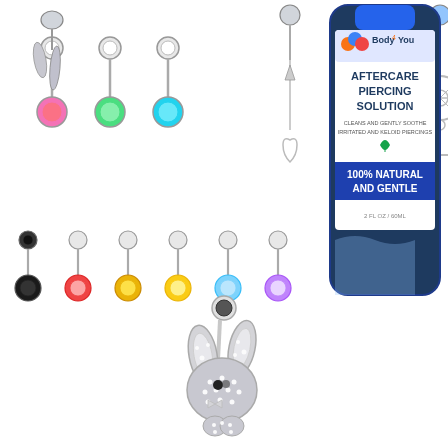[Figure (photo): Product collage showing various belly button piercing jewelry items including colorful crystal navel rings in pink, green, blue, black, red, yellow, purple and clear stones, ornate dangle pieces with feathers, hearts, anchors and ship wheel charms, a large rhinestone-encrusted Playboy bunny pendant navel ring, and a blue bottle of Body4You Aftercare Piercing Solution labeled '100% Natural and Gentle, 2 FL OZ / 60ML' with a leaf logo.]